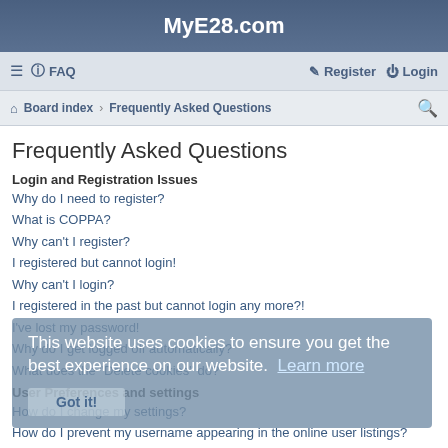MyE28.com
≡  FAQ   Register  Login
Board index › Frequently Asked Questions
Frequently Asked Questions
Login and Registration Issues
Why do I need to register?
What is COPPA?
Why can't I register?
I registered but cannot login!
Why can't I login?
I registered in the past but cannot login any more?!
I've lost my password!
Why do I get logged off automatically?
What does the "Delete cookies" do?
User Preferences and settings
How do I change my settings?
How do I prevent my username appearing in the online user listings?
The times are not correct!
I changed the timezone and the time is still wrong!
My language is not in the list!
What are the images next to my username?
This website uses cookies to ensure you get the best experience on our website. Learn more Got it!